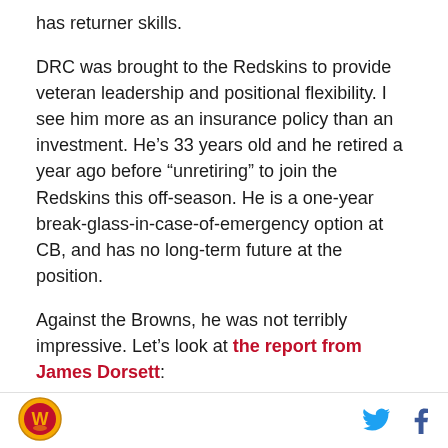has returner skills.
DRC was brought to the Redskins to provide veteran leadership and positional flexibility. I see him more as an insurance policy than an investment. He’s 33 years old and he retired a year ago before “unretiring” to join the Redskins this off-season. He is a one-year break-glass-in-case-of-emergency option at CB, and has no long-term future at the position.
Against the Browns, he was not terribly impressive. Let’s look at the report from James Dorsett:
Dominique Rodgers-Cromatrie- The 33-year-old vet drew the start and was out there for 23 defensive